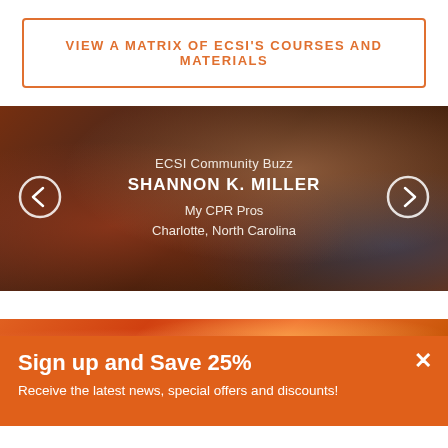VIEW A MATRIX OF ECSI'S COURSES AND MATERIALS
[Figure (photo): Dark-toned image of hands performing CPR or first aid, with overlay text for ECSI Community Buzz featuring Shannon K. Miller, My CPR Pros, Charlotte, North Carolina. Navigation arrows on left and right.]
[Figure (photo): Partial view of an orange-toned image showing people in outdoor/training context]
Sign up and Save 25%
Receive the latest news, special offers and discounts!